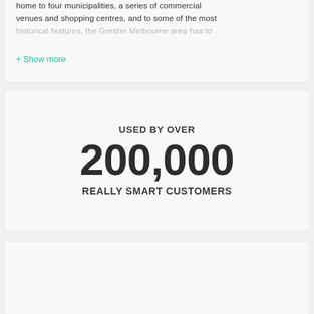home to four municipalities, a series of commercial venues and shopping centres, and to some of the most historical features, the Greater Melbourne area has to
+ Show more
USED BY OVER
200,000
REALLY SMART CUSTOMERS